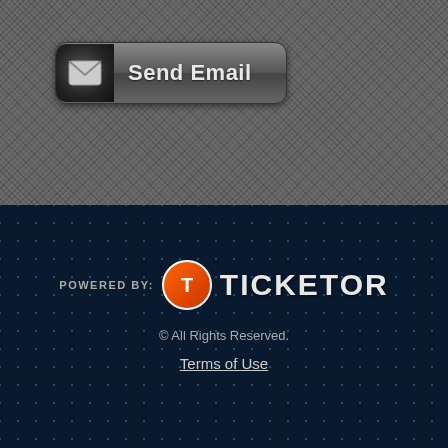[Figure (screenshot): Send Email button with envelope icon on dark gray textured background]
[Figure (logo): Powered by Ticketor logo with orange T circle icon and white TICKETOR text on dark blue dotted background]
© All Rights Reserved.
Terms of Use